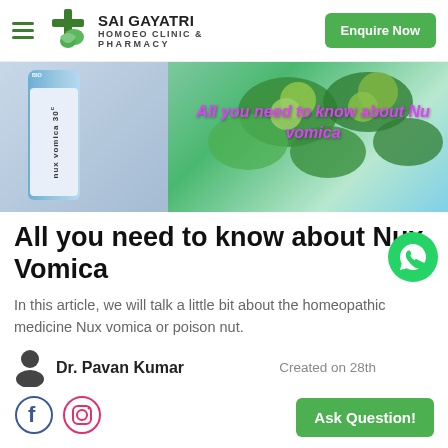[Figure (logo): Sai Gayatri Homoeo Clinic & Pharmacy logo with green cross and leaf icon]
Enquire Now
[Figure (photo): Hero image showing a Nux Vomica 30c homeopathic medicine bottle on the left and green Nux Vomica fruits on a plant on the right, with pink text overlay reading 'All you need to know about Nux Vomica']
All you need to know about Nux Vomica
In this article, we will talk a little bit about the homeopathic medicine Nux vomica or poison nut.
Dr. Pavan Kumar
Created on 28th
Ask Question!